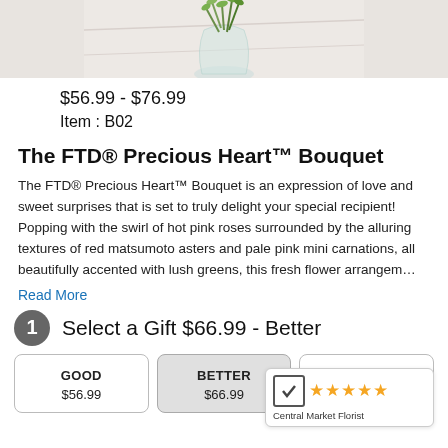[Figure (photo): Partial top view of a flower bouquet in a glass vase on a white marble surface]
$56.99 - $76.99
Item : B02
The FTD® Precious Heart™ Bouquet
The FTD® Precious Heart™ Bouquet is an expression of love and sweet surprises that is set to truly delight your special recipient! Popping with the swirl of hot pink roses surrounded by the alluring textures of red matsumoto asters and pale pink mini carnations, all beautifully accented with lush greens, this fresh flower arrangem…
Read More
1 Select a Gift $66.99 - Better
GOOD
$56.99
BETTER
$66.99
BEST
Central Market Florist